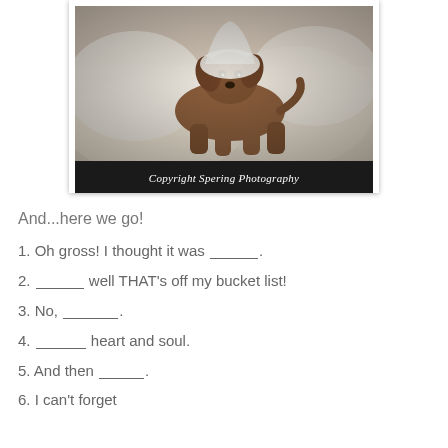[Figure (photo): A small brown dog (Chihuahua mix) lying on white bedding, wearing what appears to be a white accessory. Black caption bar below reads 'Copyright Spering Photography' in italic white text.]
And...here we go!
1. Oh gross! I thought it was _____.
2. _____ well THAT's off my bucket list!
3. No, _____.
4. _____ heart and soul.
5. And then _____.
6. I can't forget